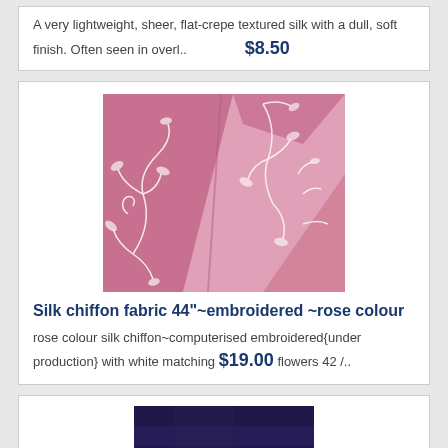A very lightweight, sheer, flat-crepe textured silk with a dull, soft finish. Often seen in overl..  $8.50
[Figure (photo): Close-up photo of pink silk chiffon fabric with white embroidered floral/leaf pattern]
Silk chiffon fabric 44"~embroidered ~rose colour
rose colour silk chiffon~computerised embroidered{under production} with white matching flowers 42 /..  $19.00
[Figure (photo): Partial photo of dark blue/purple fabric at bottom of page]